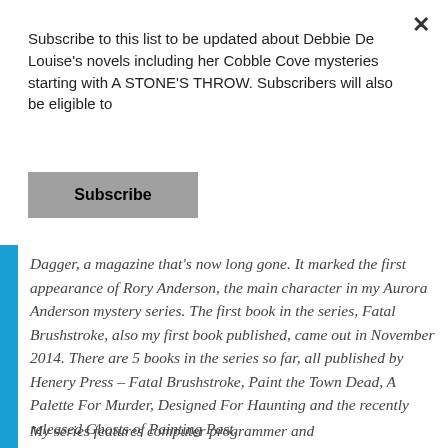Subscribe to this list to be updated about Debbie De Louise's novels including her Cobble Cove mysteries starting with A STONE'S THROW. Subscribers will also be eligible to
Subscribe
Dagger, a magazine that's now long gone. It marked the first appearance of Rory Anderson, the main character in my Aurora Anderson mystery series. The first book in the series, Fatal Brushstroke, also my first book published, came out in November 2014. There are 5 books in the series so far, all published by Henery Press – Fatal Brushstroke, Paint the Town Dead, A Palette For Murder, Designed For Haunting and the recently released Ghosts of Painting Past.
My series features computer programmer and